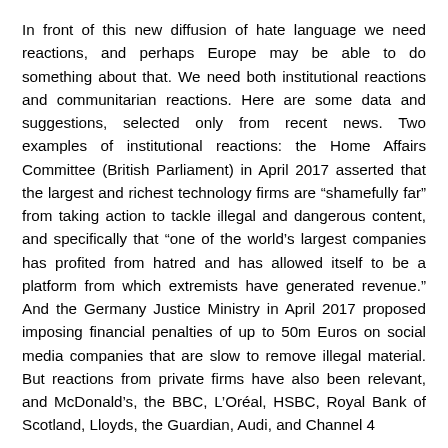In front of this new diffusion of hate language we need reactions, and perhaps Europe may be able to do something about that. We need both institutional reactions and communitarian reactions. Here are some data and suggestions, selected only from recent news. Two examples of institutional reactions: the Home Affairs Committee (British Parliament) in April 2017 asserted that the largest and richest technology firms are “shamefully far” from taking action to tackle illegal and dangerous content, and specifically that “one of the world’s largest companies has profited from hatred and has allowed itself to be a platform from which extremists have generated revenue.” And the Germany Justice Ministry in April 2017 proposed imposing financial penalties of up to 50m Euros on social media companies that are slow to remove illegal material. But reactions from private firms have also been relevant, and McDonald’s, the BBC, L’Oréal, HSBC, Royal Bank of Scotland, Lloyds, the Guardian, Audi, and Channel 4